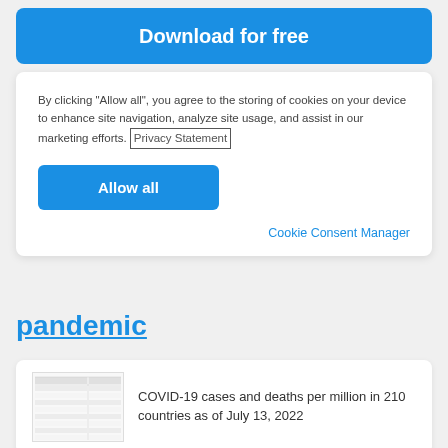Download for free
By clicking “Allow all”, you agree to the storing of cookies on your device to enhance site navigation, analyze site usage, and assist in our marketing efforts. Privacy Statement
Allow all
Cookie Consent Manager
pandemic
[Figure (table-as-image): Small thumbnail of a data table showing COVID-19 statistics]
COVID-19 cases and deaths per million in 210 countries as of July 13, 2022